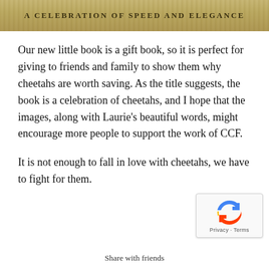[Figure (illustration): Banner image with golden/sandy textured background and text 'A CELEBRATION OF SPEED AND ELEGANCE' in uppercase serif lettering]
Our new little book is a gift book, so it is perfect for giving to friends and family to show them why cheetahs are worth saving. As the title suggests, the book is a celebration of cheetahs, and I hope that the images, along with Laurie’s beautiful words, might encourage more people to support the work of CCF.
It is not enough to fall in love with cheetahs, we have to fight for them.
[Figure (logo): Google reCAPTCHA badge with blue and red arrow-cycle icon, and 'Privacy · Terms' text below]
Share with friends